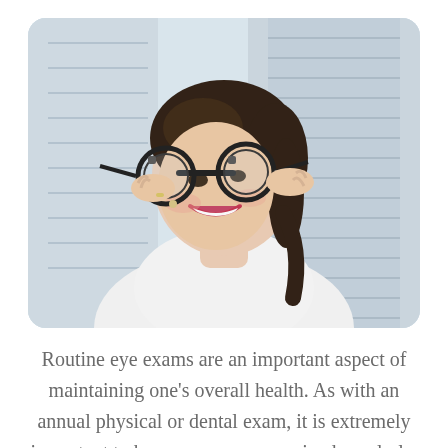[Figure (photo): A smiling woman with dark curly hair wearing a white turtleneck, holding a trial frame (optometry lens testing frame) up to her eyes. The background shows blurred shelving in what appears to be an optometry clinic.]
Routine eye exams are an important aspect of maintaining one's overall health. As with an annual physical or dental exam, it is extremely important to have your eyes examined regularly. Regardless of how great